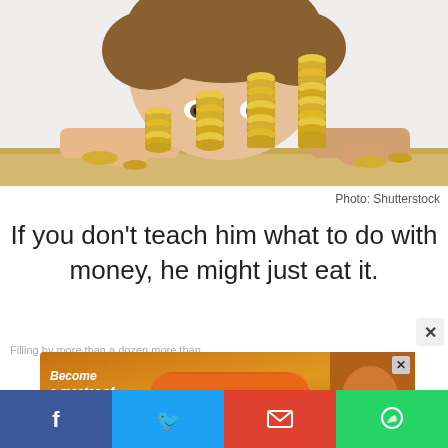[Figure (photo): A young boy peering over a wooden table/shelf at several stacks of gold coins arranged in ascending height order, photographed against a white background.]
Photo: Shutterstock
If you don't teach him what to do with money, he might just eat it.
[Figure (screenshot): Advertisement banner: 'Become a master of shooter! DOWNLOAD NOW' with game imagery on orange/brown background.]
[Figure (infographic): Social sharing bar with Facebook, Twitter, Email, and WhatsApp buttons.]